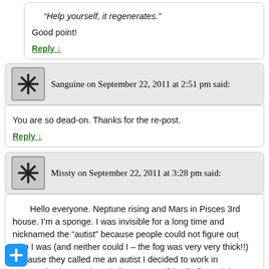“Help yourself, it regenerates.”
Good point!
Reply ↓
Sanguine on September 22, 2011 at 2:51 pm said:
You are so dead-on. Thanks for the re-post.
Reply ↓
Missty on September 22, 2011 at 3:28 pm said:
Hello everyone. Neptune rising and Mars in Pisces 3rd house. I’m a sponge. I was invisible for a long time and nicknamed the “autist” because people could not figure out who I was (and neither could I – the fog was very very thick!!) Because they called me an autist I decided to work in communications and to challenge myself (well I figured that out later because it wasn’t semi-conscious at the time – mars in Pisces!!) . Now this ability to soak up has become an asset because I can restitute and write easily for other people, I get a feel of situations, I can write with their words. I have also build better boundaries and learned to say “no”, but I have to fight all the time to keep them up.